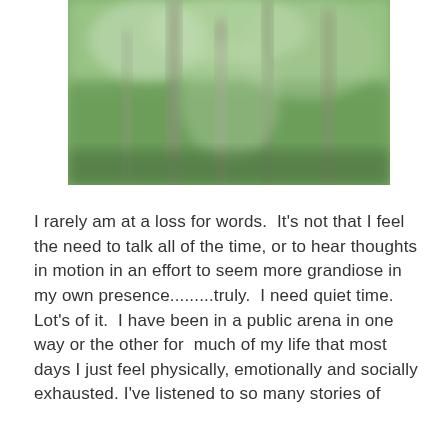[Figure (photo): Blurred green forest scene with tree trunks and foliage in soft focus]
I rarely am at a loss for words.  It's not that I feel the need to talk all of the time, or to hear thoughts in motion in an effort to seem more grandiose in my own presence.........truly.  I need quiet time.  Lot's of it.  I have been in a public arena in one way or the other for  much of my life that most days I just feel physically, emotionally and socially exhausted.  I've listened to so many stories of